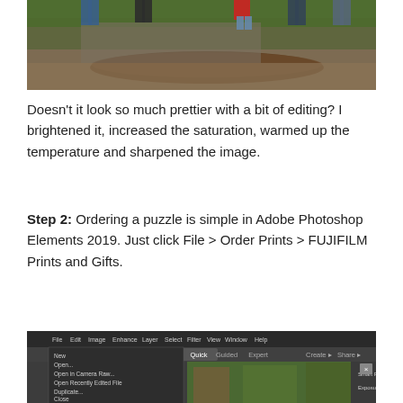[Figure (photo): A family photo taken outdoors near large rocks and fallen logs in a wooded area. People are standing on a rocky ledge in the background.]
Doesn't it look so much prettier with a bit of editing? I brightened it, increased the saturation, warmed up the temperature and sharpened the image.
Step 2: Ordering a puzzle is simple in Adobe Photoshop Elements 2019. Just click File > Order Prints > FUJIFILM Prints and Gifts.
[Figure (screenshot): A screenshot of Adobe Photoshop Elements 2019 showing the File menu open with options, and a photo of trees/logs visible in the editing area.]